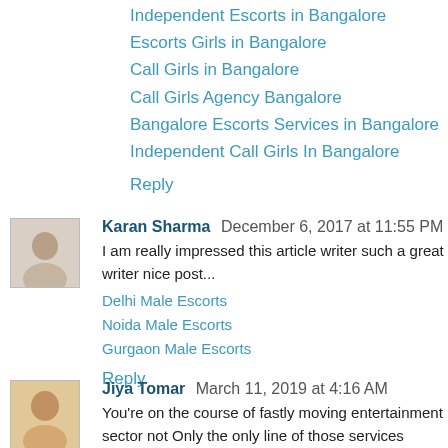Independent Escorts in Bangalore
Escorts Girls in Bangalore
Call Girls in Bangalore
Call Girls Agency Bangalore
Bangalore Escorts Services in Bangalore
Independent Call Girls In Bangalore
Reply
Karan Sharma  December 6, 2017 at 11:55 PM
I am really impressed this article writer such a great writer nice post...
Delhi Male Escorts
Noida Male Escorts
Gurgaon Male Escorts
Reply
Jiya Tomar  March 11, 2019 at 4:16 AM
You're on the course of fastly moving entertainment sector not Only the only line of those services which would lead to